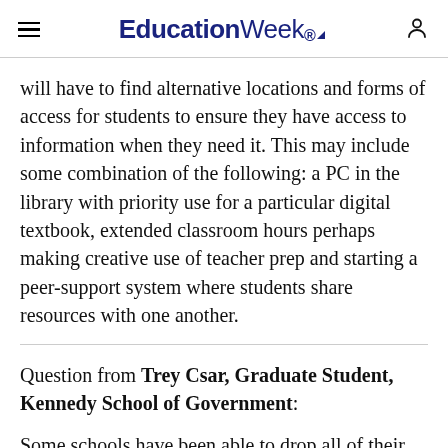EducationWeek
will have to find alternative locations and forms of access for students to ensure they have access to information when they need it. This may include some combination of the following: a PC in the library with priority use for a particular digital textbook, extended classroom hours perhaps making creative use of teacher prep and starting a peer-support system where students share resources with one another.
Question from Trey Csar, Graduate Student, Kennedy School of Government:
Some schools have been able to drop all of their traditional printed textbooks for solely electronic